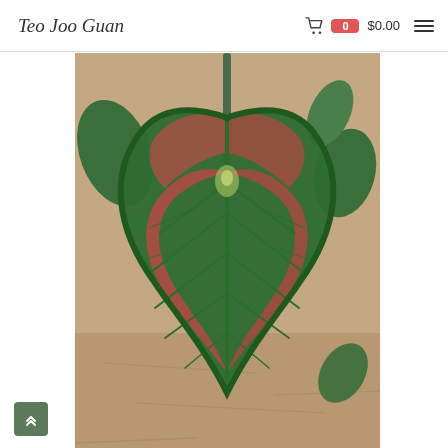Teo Joo Guan — cart: 0 items $0.00
[Figure (photo): Close-up photograph of a large heart-shaped caladium leaf with deep green edges and red/pink variegated patterns radiating from the center, displayed against a concrete background with other green leaves visible behind it.]